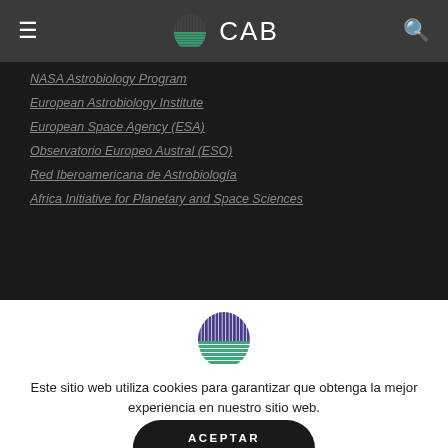CAB — Centro de Astrobiología
NASA Astrobiology Program
European Astrobiology Institute
European Space Agency (ESA)
Observatorio Europeo Austral (ESO)
Red Iberoamericana de Astrobiología
Africa Initiative for Planetary and Space Sciences
[Figure (logo): CAB Centro de Astrobiología logo: stylized arch shape with vertical blue/purple stripes on top half and horizontal green/teal stripes on bottom half]
Este sitio web utiliza cookies para garantizar que obtenga la mejor experiencia en nuestro sitio web.
POLÍTICA COOKIES
ACEPTAR